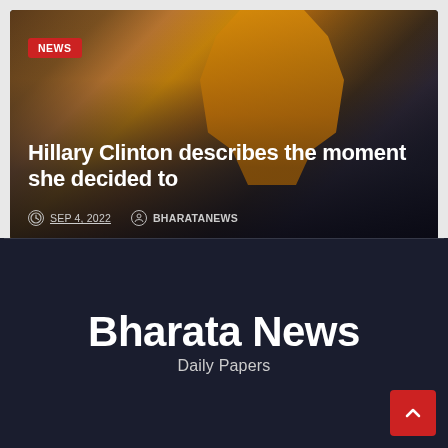[Figure (photo): News article card showing a woman in an orange/yellow outfit at a public event, with crowd in background]
Hillary Clinton describes the moment she decided to
SEP 4, 2022   BHARATANEWS
Bharata News
Daily Papers